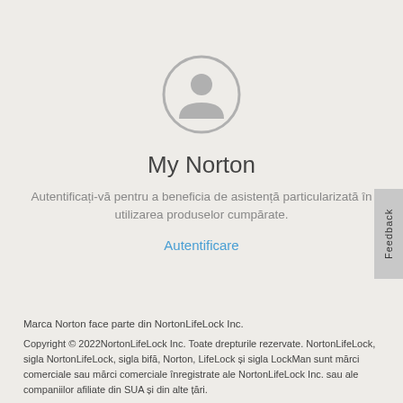[Figure (illustration): User avatar icon: a grey circle outline with a simple person silhouette (head circle and body shape) inside, centered on the page]
My Norton
Autentificați-vă pentru a beneficia de asistență particularizată în utilizarea produselor cumpărate.
Autentificare
Marca Norton face parte din NortonLifeLock Inc.
Copyright © 2022NortonLifeLock Inc. Toate drepturile rezervate. NortonLifeLock, sigla NortonLifeLock, sigla bifă, Norton, LifeLock și sigla LockMan sunt mărci comerciale sau mărci comerciale înregistrate ale NortonLifeLock Inc. sau ale companiilor afiliate din SUA și din alte țări.